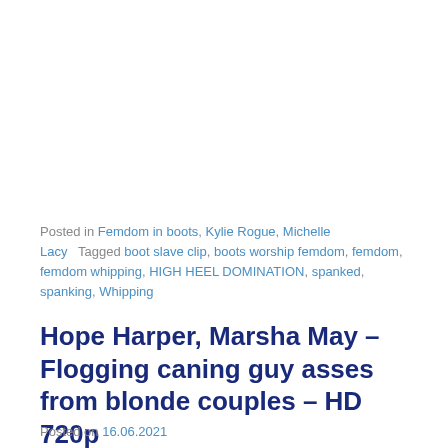Posted in Femdom in boots, Kylie Rogue, Michelle Lacy   Tagged boot slave clip, boots worship femdom, femdom, femdom whipping, HIGH HEEL DOMINATION, spanked, spanking, Whipping
Hope Harper, Marsha May – Flogging caning guy asses from blonde couples – HD 720p
Posted on 16.06.2021